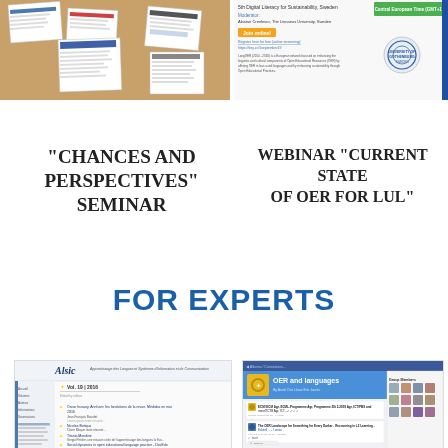[Figure (screenshot): Screenshot of a seminar webpage with documents laid on a sandy/brown background, showing floating document cards]
[Figure (screenshot): Screenshot of a webinar registration page for 'Current State of OER for LUL' hosted by University of Gothenburg, with green Register button and presenter info]
“CHANCES AND PERSPECTIVES” SEMINAR
WEBINAR "CURRENT STATE OF OER FOR LUL"
FOR EXPERTS
[Figure (screenshot): Screenshot of Alsic journal website, Vol. 19 | 2016, showing article listings in French]
[Figure (screenshot): Screenshot of a Facebook/social media group page titled 'OER and languages' with blue header and user posts]